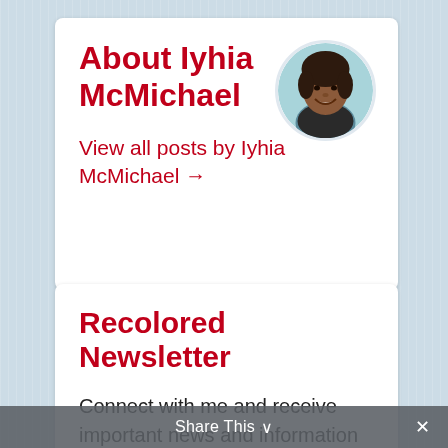About Iyhia McMichael
[Figure (photo): Circular profile photo of Iyhia McMichael, a woman smiling, with braided/curly hair, wearing a dark top, photographed against a light background.]
View all posts by Iyhia McMichael →
Recolored Newsletter
Connect with me and receive important news and information
Share This ∨  ✕